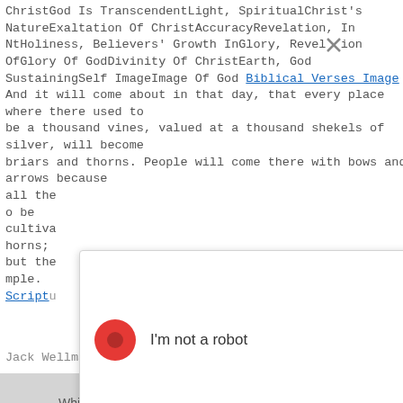ChristGod Is TranscendentLight, SpiritualChrist's NatureExaltation Of ChristAccuracyRevelation, In NtHoliness, Believers' Growth InGlory, Revelation OfGlory Of GodDivinity Of ChristEarth, God SustainingSelf ImageImage Of God Biblical Verses Image
And it will come about in that day, that every place where there used to be a thousand vines, valued at a thousand shekels of silver, will become briars and thorns. People will come there with bows and arrows because all the ... to be cultivated ... thorns; but the ... ample.
Script...
[Figure (screenshot): reCAPTCHA modal dialog with red circle checkbox, 'I'm not a robot' text, reCAPTCHA logo, and Privacy - Terms links. A close (X) button is visible in the top right of the overlay.]
Jack Wellman is a father and grandfather and a Christian
While many white musicians gravitated toward country, folk, and old-timey music to express their spirituality outside of traditional Christian hymns, Black Gospel music drew heavily upon the traditional spirituals that had been passed down from the days of slavery, picking up its more driving rhythmic emphasis from blues and early jazz. Composer and singer Thomas A. Dorsey